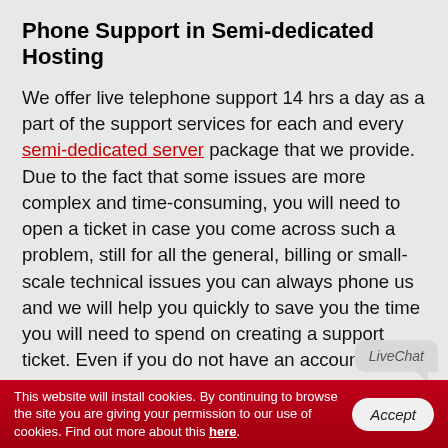Phone Support in Semi-dedicated Hosting
We offer live telephone support 14 hrs a day as a part of the support services for each and every semi-dedicated server package that we provide. Due to the fact that some issues are more complex and time-consuming, you will need to open a ticket in case you come across such a problem, still for all the general, billing or small-scale technical issues you can always phone us and we will help you quickly to save you the time you will need to spend on creating a support ticket. Even if you do not have an account yet, you can find out whether you can host your internet sites on our top-notch cloud platform or you're able to receive any other general information about our semi-dedicated solutions. We have local numbers in the
LiveChat
This website will install cookies. By continuing to browse the site you are giving your permission to our use of cookies. Find out more about this here.